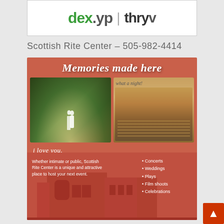[Figure (logo): dex.yp | thryv logo banner with white background]
Scottish Rite Center – 505-982-4414
[Figure (infographic): Scottish Rite Center advertisement. Red/terracotta background with headline 'Memories made here', two photos (wedding scene in nature, theater interior with 'what a night!'), cursive 'i love you.', building illustration. Text: 'Whether intimate or public, Scottish Rite Center is a unique and attractive place to host your next event.' Bullet list: Concerts, Weddings, Plays, Film shoots, Celebrations]